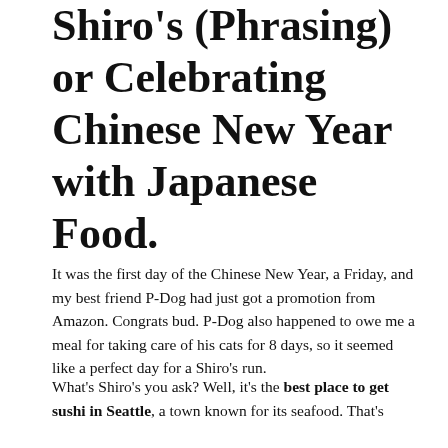Shiro's (Phrasing) or Celebrating Chinese New Year with Japanese Food.
It was the first day of the Chinese New Year, a Friday, and my best friend P-Dog had just got a promotion from Amazon. Congrats bud. P-Dog also happened to owe me a meal for taking care of his cats for 8 days, so it seemed like a perfect day for a Shiro's run.
What's Shiro's you ask? Well, it's the best place to get sushi in Seattle, a town known for its seafood. That's